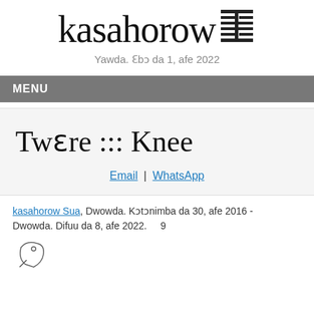kasahorow
Yawda. Ɛbɔ da 1, afe 2022
MENU
Twɛre ::: Knee
Email | WhatsApp
kasahorow Sua, Dwowda. Kɔtɔnimba da 30, afe 2016 - Dwowda. Difuu da 8, afe 2022.     9
[Figure (illustration): Small icon/logo graphic resembling a stylized leaf or tag shape]